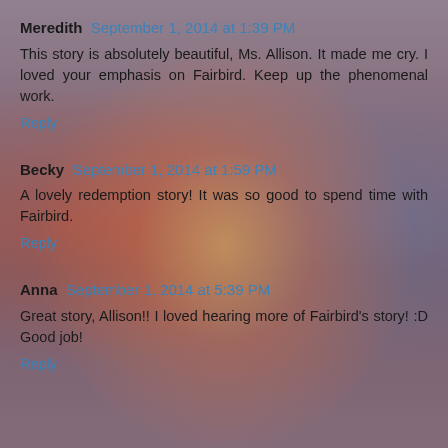Meredith  September 1, 2014 at 1:39 PM
This story is absolutely beautiful, Ms. Allison. It made me cry. I loved your emphasis on Fairbird. Keep up the phenomenal work.
Reply
Becky  September 1, 2014 at 1:59 PM
A lovely redemption story! It was so good to spend time with Fairbird.
Reply
Anna  September 1, 2014 at 5:39 PM
Great story, Allison!! I loved hearing more of Fairbird's story! :D Good job!
Reply